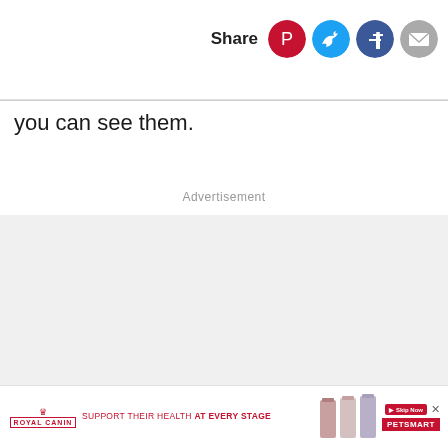Share
you can see them.
Advertisement
[Figure (screenshot): Advertisement banner for Royal Canin featuring product images and PetSmart logo with tagline 'SUPPORT THEIR HEALTH AT EVERY STAGE']